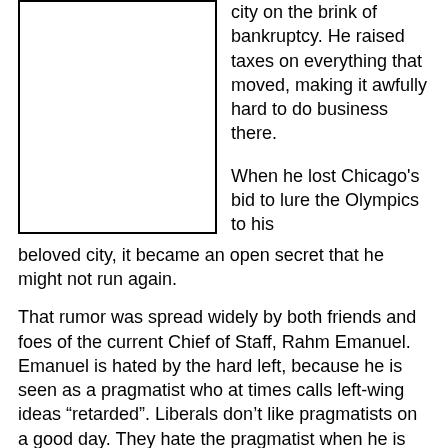[Figure (other): Empty rectangle/placeholder image box]
city on the brink of bankruptcy.  He raised taxes on everything that moved, making it awfully hard to do business there.
When he lost Chicago's bid to lure the Olympics to his beloved city, it became an open secret that he might not run again.
That rumor was spread widely by both friends and foes of the current Chief of Staff, Rahm Emanuel.  Emanuel is hated by the hard left, because he is seen as a pragmatist who at times calls left-wing ideas “retarded”.  Liberals don’t like pragmatists on a good day.  They hate the pragmatist when he is the gate-keeper to the most liberal President in our nation’s history.  They hate Rahm.